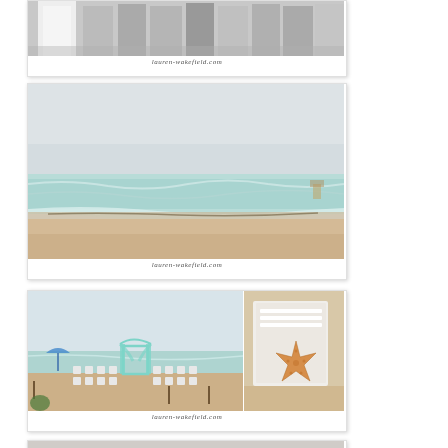[Figure (photo): Partial view of black and white wedding group photo, bottom portion visible, with watermark lauren-wakefield.com]
[Figure (photo): Beach landscape photo with turquoise water and sandy shore under overcast sky, with watermark lauren-wakefield.com]
[Figure (photo): Composite of two beach wedding setup photos: left shows ceremony chairs and teal arch on beach, right shows starfish decoration on white chair, with watermark lauren-wakefield.com]
[Figure (photo): Partial view of another photo strip at bottom of page, just barely visible]